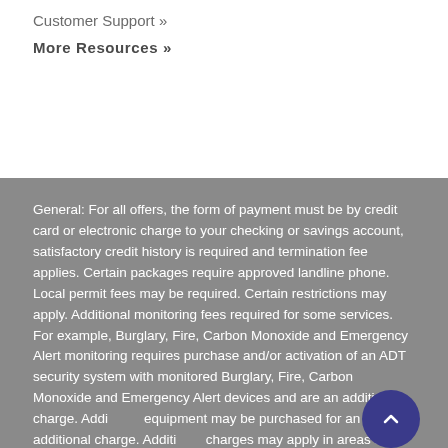Customer Support »
More Resources »
General: For all offers, the form of payment must be by credit card or electronic charge to your checking or savings account, satisfactory credit history is required and termination fee applies. Certain packages require approved landline phone. Local permit fees may be required. Certain restrictions may apply. Additional monitoring fees required for some services. For example, Burglary, Fire, Carbon Monoxide and Emergency Alert monitoring requires purchase and/or activation of an ADT security system with monitored Burglary, Fire, Carbon Monoxide and Emergency Alert devices and are an additional charge. Additional equipment may be purchased for an additional charge. Additional charges may apply in areas that require guard response service for municipal alarm verification. Prices subject to change. Prices may vary